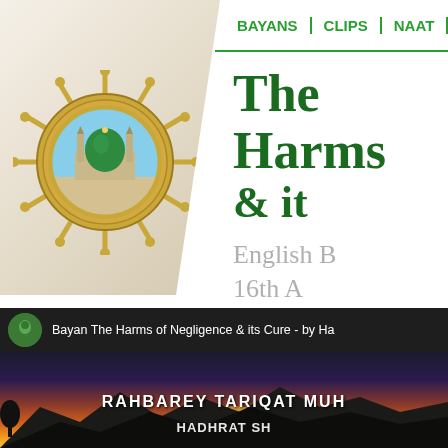[Figure (logo): Circular gold Islamic emblem with image of the Prophet's Mosque (Masjid an-Nabawi) with green dome, surrounded by ornate golden decorative border with spokes, set against a beige/cream pentagon-shaped background]
BAYANS | CLIPS | NAAT | S
The Harms & it
English B
16th A
[Figure (screenshot): Video thumbnail showing: top bar with small green dome icon and text 'Bayan The Harms of Negligence & its Cure - by Ha', below that a sunset landscape with mountains and orange/golden sky, with overlaid text 'RAHBAREY TARIQAT MUH' and 'HADHRAT SH']